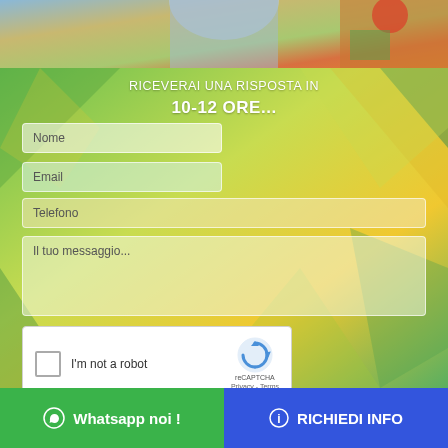[Figure (photo): Partial photo strip showing a colorful image with what appears to be festive/decorative elements, cropped at top of page]
RICEVERAI UNA RISPOSTA IN 10-12 ORE...
Nome
Email
Telefono
Il tuo messaggio...
[Figure (screenshot): reCAPTCHA widget with checkbox labeled 'I'm not a robot' and reCAPTCHA logo with Privacy - Terms links]
Whatsapp noi !
RICHIEDI INFO